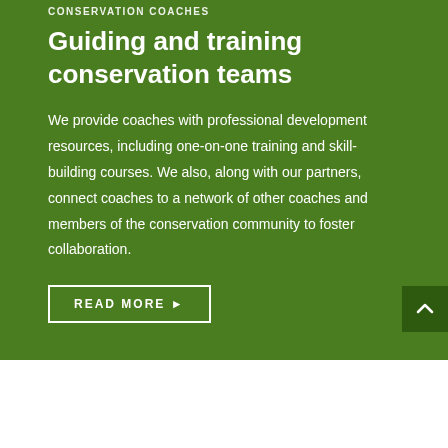CONSERVATION COACHES
Guiding and training conservation teams
We provide coaches with professional development resources, including one-on-one training and skill-building courses. We also, along with our partners, connect coaches to a network of other coaches and members of the conservation community to foster collaboration.
READ MORE ▶